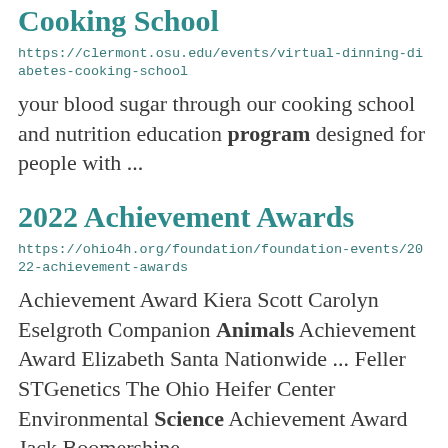Cooking School
https://clermont.osu.edu/events/virtual-dinning-diabetes-cooking-school
your blood sugar through our cooking school and nutrition education program designed for people with ...
2022 Achievement Awards
https://ohio4h.org/foundation/foundation-events/2022-achievement-awards
Achievement Award Kiera Scott Carolyn Eselgroth Companion Animals Achievement Award Elizabeth Santa Nationwide ... Feller STGenetics The Ohio Heifer Center Environmental Science Achievement Award Jack Boomershine